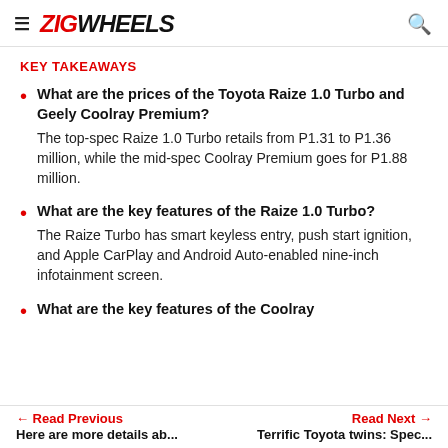ZIGWHEELS
KEY TAKEAWAYS
What are the prices of the Toyota Raize 1.0 Turbo and Geely Coolray Premium? The top-spec Raize 1.0 Turbo retails from P1.31 to P1.36 million, while the mid-spec Coolray Premium goes for P1.88 million.
What are the key features of the Raize 1.0 Turbo? The Raize Turbo has smart keyless entry, push start ignition, and Apple CarPlay and Android Auto-enabled nine-inch infotainment screen.
What are the key features of the Coolray
← Read Previous | Here are more details ab... | Read Next → | Terrific Toyota twins: Spec...